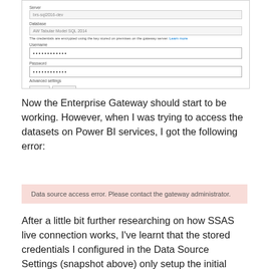[Figure (screenshot): Form screenshot showing Server field with 'brs-sql2016-dev', Database field with 'AW Tabular Model SQL 2014', a credentials note, Username field with masked password dots, Password field with masked password dots, Advanced settings link, and Apply/Discard buttons.]
Now the Enterprise Gateway should start to be working. However, when I was trying to access the datasets on Power BI services, I got the following error:
Data source access error. Please contact the gateway administrator.
After a little bit further researching on how SSAS live connection works, I've learnt that the stored credentials I configured in the Data Source Settings (snapshot above) only setup the initial connection to the SSAS services, and the actual queries are executed based on individual user's